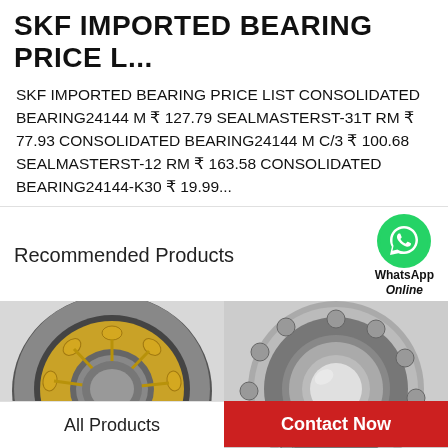SKF IMPORTED BEARING PRICE L...
SKF IMPORTED BEARING PRICE LIST CONSOLIDATED BEARING24144 M ₹ 127.79 SEALMASTERST-31T RM ₹ 77.93 CONSOLIDATED BEARING24144 M C/3 ₹ 100.68 SEALMASTERST-12 RM ₹ 163.58 CONSOLIDATED BEARING24144-K30 ₹ 19.99...
Recommended Products
[Figure (photo): WhatsApp Online button with green WhatsApp logo icon]
[Figure (photo): Left bearing product photo: SKF spherical roller bearing with gold cage, cutaway view showing internal components]
[Figure (photo): Right bearing product photo: SKF spherical roller bearing, front view showing rollers and outer ring]
All Products    Contact Now